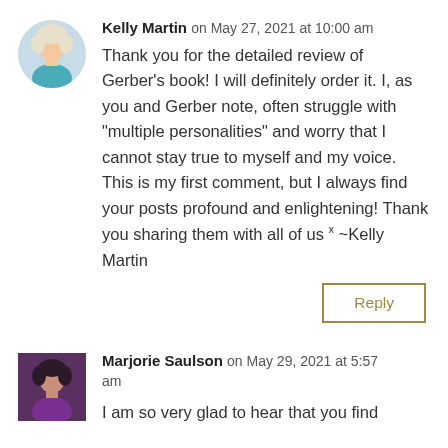[Figure (photo): Circular avatar photo of Kelly Martin, a woman with light hair wearing a teal top]
Kelly Martin on May 27, 2021 at 10:00 am
Thank you for the detailed review of Gerber's book! I will definitely order it. I, as you and Gerber note, often struggle with “multiple personalities” and worry that I cannot stay true to myself and my voice. This is my first comment, but I always find your posts profound and enlightening! Thank you sharing them with all of us x ~Kelly Martin
Reply
[Figure (photo): Small square avatar photo of Marjorie Saulson, a woman with dark hair wearing a purple top]
Marjorie Saulson on May 29, 2021 at 5:57 am
I am so very glad to hear that you find